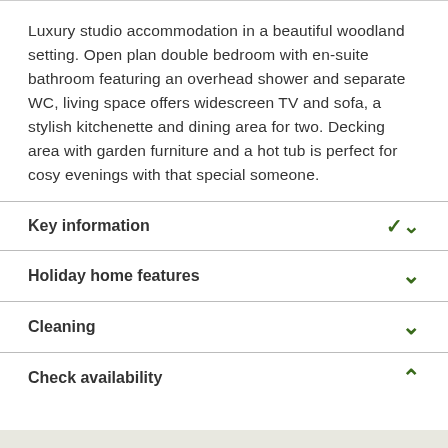Luxury studio accommodation in a beautiful woodland setting. Open plan double bedroom with en-suite bathroom featuring an overhead shower and separate WC, living space offers widescreen TV and sofa, a stylish kitchenette and dining area for two. Decking area with garden furniture and a hot tub is perfect for cosy evenings with that special someone.
Key information
Holiday home features
Cleaning
Check availability